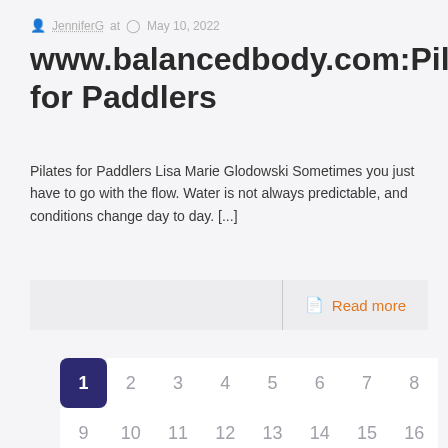JenniferG at May 10, 2022
www.balancedbody.com:Pilates for Paddlers
Pilates for Paddlers Lisa Marie Glodowski Sometimes you just have to go with the flow. Water is not always predictable, and conditions change day to day. [...]
Read more
| 1 | 2 | 3 | 4 | 5 | 6 | 7 | 8 | 9 | 10 | 11 | 12 | 13 | 14 | 15 | 16 | 17 | 18 | 19 | 20 | 21 | 22 | 23 | 24 | 25 | 26 | 27 | 28 | 29 | 30 | 31 | 32 |
| --- | --- | --- | --- | --- | --- | --- | --- | --- | --- | --- | --- | --- | --- | --- | --- | --- | --- | --- | --- | --- | --- | --- | --- | --- | --- | --- | --- | --- | --- | --- | --- |